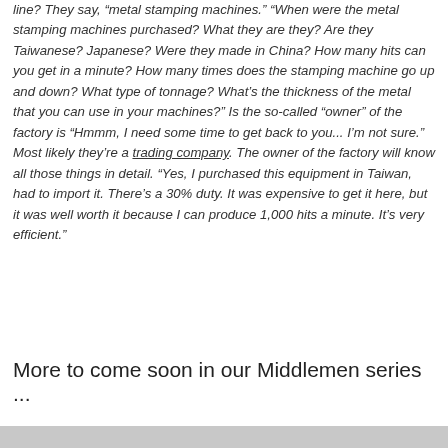line?  They say, “metal stamping machines.”  “When were the metal stamping machines purchased?  What they are they? Are they Taiwanese?  Japanese?  Were they made in China?  How many hits can you get in a minute?  How many times does the stamping machine go up and down?  What type of tonnage?  What's the thickness of the metal that you can use in your machines?”  Is the so-called “owner” of the factory is “Hmmm, I need some time to get back to you...  I'm not sure.”  Most likely they’re a trading company.  The owner of the factory will know all those things in detail.  “Yes, I purchased this equipment in Taiwan, had to import it.  There’s a 30% duty.  It was expensive to get it here, but it was well worth it because I can produce 1,000 hits a minute.  It’s very efficient.”
More to come soon in our Middlemen series ...